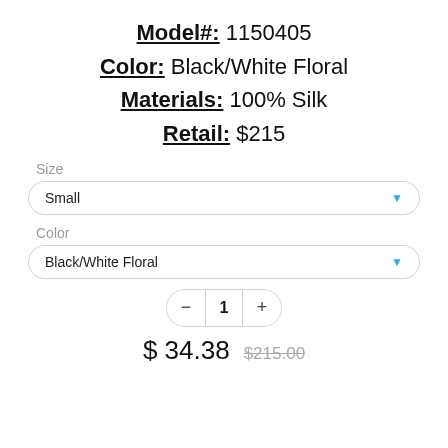Model#: 1150405
Color: Black/White Floral
Materials: 100% Silk
Retail: $215
Size
Small
Color
Black/White Floral
1
$ 34.38   $215.00